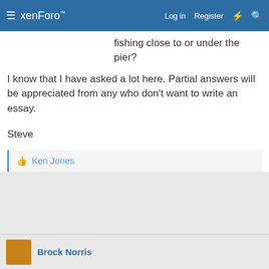xenForo — Log in  Register
fishing close to or under the pier?
I know that I have asked a lot here. Partial answers will be appreciated from any who don't want to write an essay.
Steve
👍 Ken Jones
Brock Norris